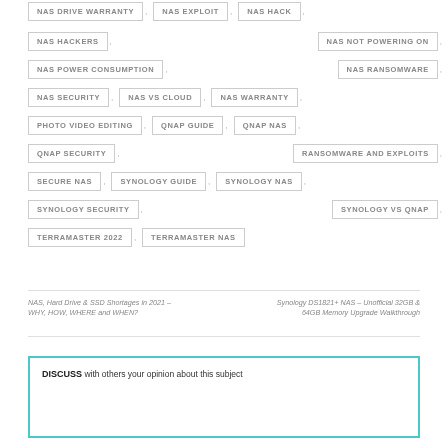NAS DRIVE WARRANTY , NAS EXPLOIT , NAS HACK ,
NAS HACKERS , NAS NOT POWERING ON ,
NAS POWER CONSUMPTION , NAS RANSOMWARE ,
NAS SECURITY , NAS VS CLOUD , NAS WARRANTY ,
PHOTO VIDEO EDITING , QNAP GUIDE , QNAP NAS ,
QNAP SECURITY , RANSOMWARE AND EXPLOITS ,
SECURE NAS , SYNOLOGY GUIDE , SYNOLOGY NAS ,
SYNOLOGY SECURITY , SYNOLOGY VS QNAP ,
TERRAMASTER 2022 , TERRAMASTER NAS
NAS, Hard Drive & SSD Shortages in 2021 –WHY, HOW, WHERE and WHEN?
Synology DS1821+ NAS – Unofficial 32GB & 64GB Memory Upgrade Walkthrough
DISCUSS with others your opinion about this subject